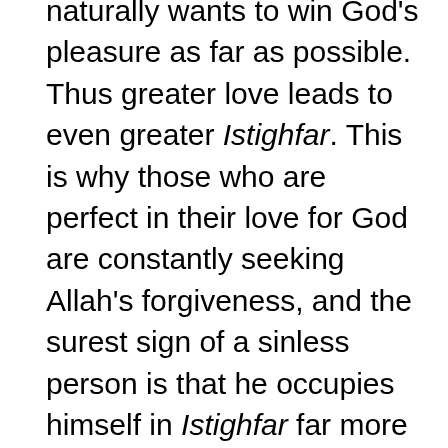naturally wants to win God's pleasure as far as possible. Thus greater love leads to even greater Istighfar. This is why those who are perfect in their love for God are constantly seeking Allah's forgiveness, and the surest sign of a sinless person is that he occupies himself in Istighfar far more than other people. The true meaning of Istighfar is to pray to God that He may remove the possibility of any transgression or error which a person might commit due to the weakness of human nature, and that He may cover his faults and not allow them to be exposed. The meaning of Istighfar also extends to the common people, and, in their case, it means: to pray to God that He may protect the supplicant from evil consequences and poisonous influences of his transgressions and misdeeds, both in this world and the hereafter.